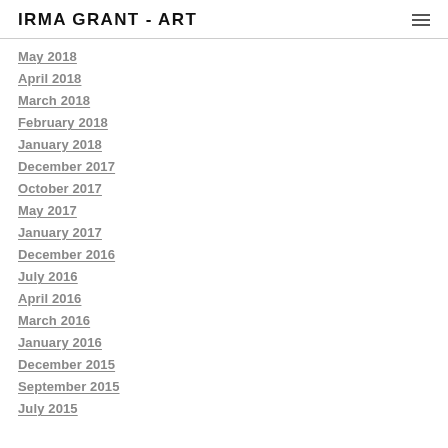IRMA GRANT - ART
May 2018
April 2018
March 2018
February 2018
January 2018
December 2017
October 2017
May 2017
January 2017
December 2016
July 2016
April 2016
March 2016
January 2016
December 2015
September 2015
July 2015